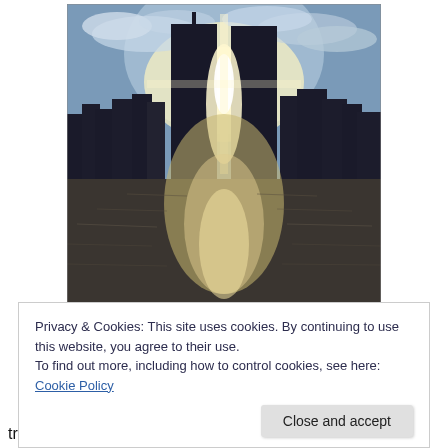[Figure (photo): Photograph of the Twin Towers (World Trade Center) silhouetted against a bright sky with sun shining between the two towers, reflecting on the water below. City skyline visible in the background.]
Privacy & Cookies: This site uses cookies. By continuing to use this website, you agree to their use.
To find out more, including how to control cookies, see here: Cookie Policy
tragedies mentioned above, like all other generations my